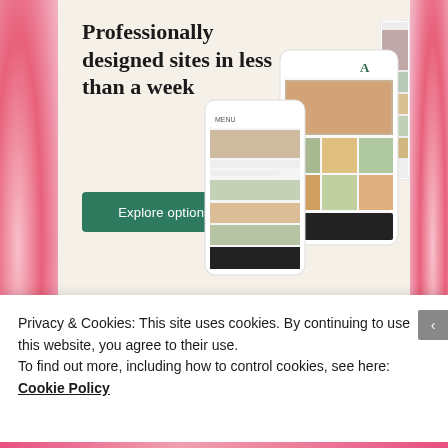[Figure (screenshot): WordPress advertisement banner with beige background showing 'Professionally designed sites in less than a week' heading, a green 'Explore options' button, WordPress logo, and phone mockups showing website templates]
Posted in Uncategorized | Tagged Audrey Hepburn, baby pink, Blumarine, Carven, choies, coats, Croatia, fashion blogger, Givenchy, Gwyneth Paltrow, H&M, helen mirren
Privacy & Cookies: This site uses cookies. By continuing to use this website, you agree to their use.
To find out more, including how to control cookies, see here: Cookie Policy
Close and accept